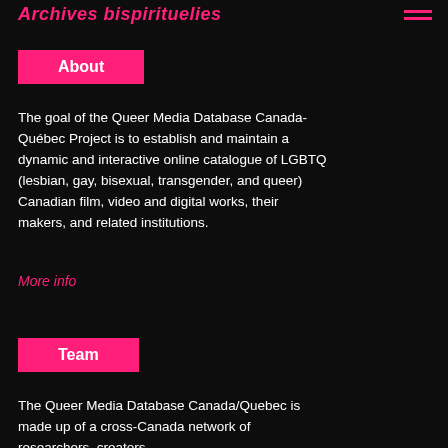Archives bispirituelies
About
The goal of the Queer Media Database Canada-Québec Project is to establish and maintain a dynamic and interactive online catalogue of LGBTQ (lesbian, gay, bisexual, transgender, and queer) Canadian film, video and digital works, their makers, and related institutions.
More info
Team
The Queer Media Database Canada/Quebec is made up of a cross-Canada network of researchers, creators,